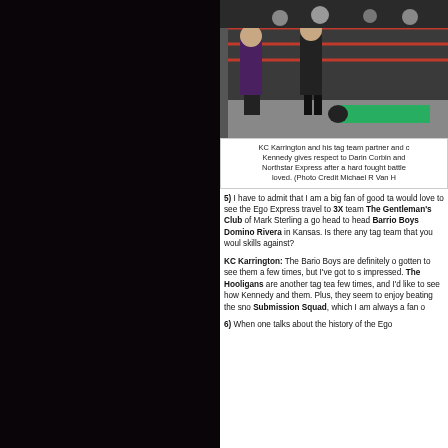[Figure (photo): Wrestling match photo showing wrestlers in a ring with red ropes, one wrestler in green lying on the mat]
KC Karrington and his tag team partner and o Kennedy gives respect to Darin Corbin and Northstar Express after a hard fought battle loved. (Photo Credit Michael R Van H
5) I have to admit that I am a big fan of good ta would love to see the Ego Express travel to 3X team The Gentleman's Club of Mark Sterling a go head to head Barrio Boys Domino Rivera in Kansas. Is there any tag team that you woul skills against?
KC Karrington: The Bario Boys are definitely o gotten to see them a few times, but I've got to s impressed. The Hooligans are another tag tea few times, and I'd like to see how Kennedy and them. Plus, they seem to enjoy beating the sno Submission Squad, which I am always a fan o
6) When one talks about the history of the Ego